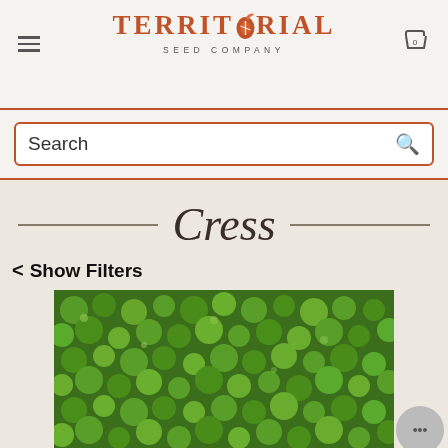Territorial Seed Company
Search
Cress
< Show Filters
[Figure (photo): Dense green watercress or cress plants with small round leaves, viewed from above]